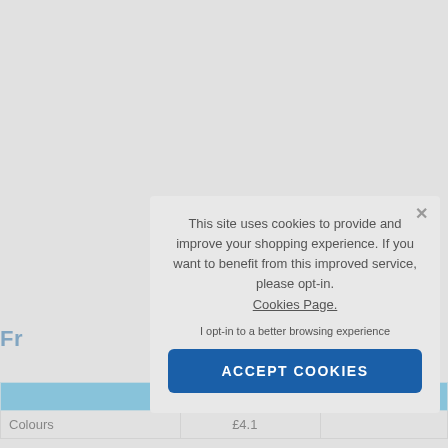Fr...
|  | 1+ | ... |
| --- | --- | --- |
| Colours | £4.1... | ... |
[Figure (screenshot): Cookie consent modal overlay on a shopping website. The modal reads: 'This site uses cookies to provide and improve your shopping experience. If you want to benefit from this improved service, please opt-in. Cookies Page. I opt-in to a better browsing experience' with an ACCEPT COOKIES button. Partially visible behind: a blue price text starting with 'Fr' and a table row showing Colours / £4.1...]